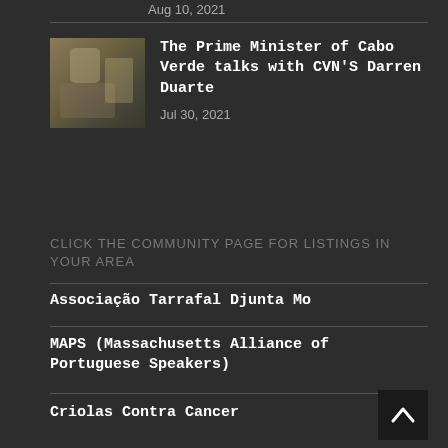Aug 10, 2021
[Figure (photo): Thumbnail photo for news article about Prime Minister of Cabo Verde]
The Prime Minister of Cabo Verde talks with CVN'S Darren Duarte
Jul 30, 2021
CLICK THE COMMUNITY PAGE FOR LISTINGS IN YOUR AREA
Associação Tarrafal Djunta Mo
MAPS (Massachusetts Alliance of Portuguese Speakers)
Criolas Contra Cancer